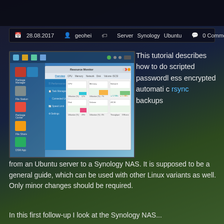28.08.2017  geohei  Server  Synology  Ubuntu  0 Comment
[Figure (screenshot): Synology NAS Resource Monitor screenshot showing Performance panel with CPU, Memory, Network, Disk, Volume, and iSCSI graphs]
This tutorial describes how to do scripted passwordless encrypted automatic rsync backups from an Ubuntu server to a Synology NAS. It is supposed to be a general guide, which can be used with other Linux variants as well. Only minor changes should be required.
In this first follow-up I look at the Synology NAS...